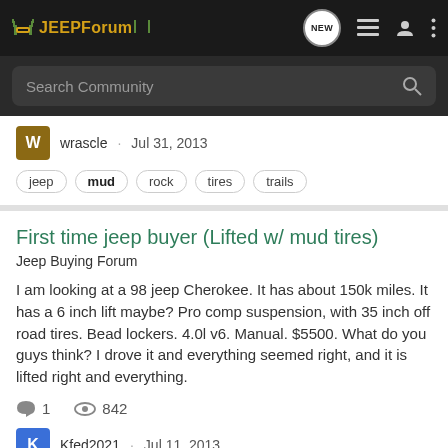JEEPForum
Search Community
wrascle · Jul 31, 2013
jeep  mud  rock  tires  trails
First time jeep buyer (Lifted w/ mud tires)
Jeep Buying Forum
I am looking at a 98 jeep Cherokee. It has about 150k miles. It has a 6 inch lift maybe? Pro comp suspension, with 35 inch off road tires. Bead lockers. 4.0l v6. Manual. $5500. What do you guys think? I drove it and everything seemed right, and it is lifted right and everything.
1   842
Kfed2021 · Jul 11, 2013
cherokee  lift  mud  off-road